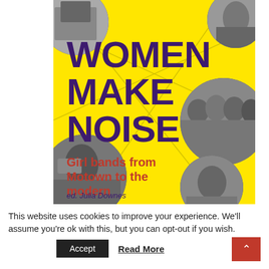[Figure (illustration): Book cover for 'Women Make Noise: Girl bands from Motown to the modern', edited by Julia Downes. Yellow background with large purple bold uppercase title text, red subtitle, and black-and-white circular photos of women musicians at top-left, top-right, middle-right, bottom-left, and bottom-right corners. Diamond line pattern overlays the circles.]
This website uses cookies to improve your experience. We'll assume you're ok with this, but you can opt-out if you wish.
Accept
Read More